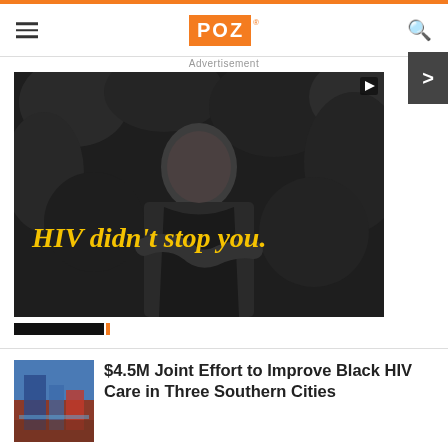POZ
Advertisement
[Figure (photo): Black and white photo of a young Black man with text overlay reading 'HIV didn't stop you.' in yellow script lettering. Advertisement image.]
$4.5M Joint Effort to Improve Black HIV Care in Three Southern Cities